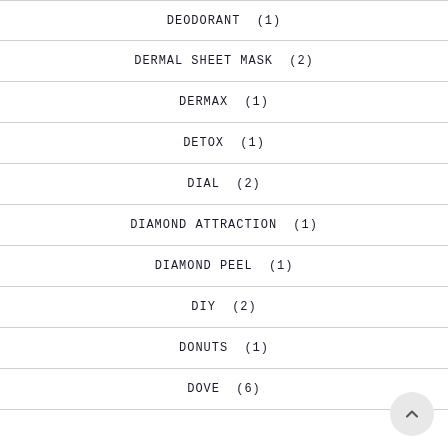DEODORANT  (1)
DERMAL SHEET MASK  (2)
DERMAX  (1)
DETOX  (1)
DIAL  (2)
DIAMOND ATTRACTION  (1)
DIAMOND PEEL  (1)
DIY  (2)
DONUTS  (1)
DOVE  (6)